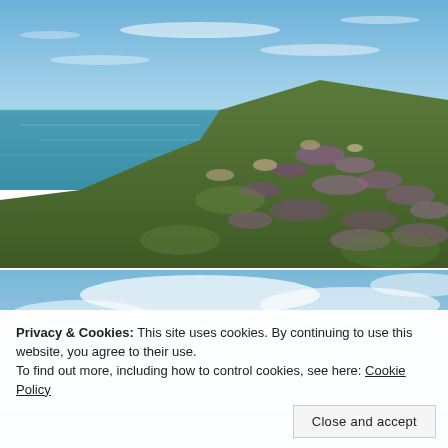[Figure (photo): Coastal cliff scene with green and purple heather-covered hillside sloping down to rocky shore with turquoise ocean and blue sky with light clouds above]
[Figure (photo): Partial view of another coastal photo — blue sky with clouds, possibly similar coastal scenery, partially obscured by the cookie consent banner]
Privacy & Cookies: This site uses cookies. By continuing to use this website, you agree to their use.
To find out more, including how to control cookies, see here: Cookie Policy
Close and accept